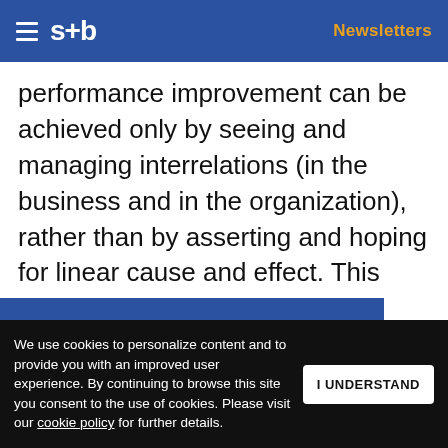s+b  Newsletters
performance improvement can be achieved only by seeing and managing interrelations (in the business and in the organization), rather than by asserting and hoping for linear cause and effect. This need to see business and organizations as systems, with interrelated parts and complicated "wiring," reflects oft-expressed senior management concerns … parts to move in unison.
Get s+b's award-winning newsletter delivered to your inbox.
We use cookies to personalize content and to provide you with an improved user experience. By continuing to browse this site you consent to the use of cookies. Please visit our cookie policy for further details.